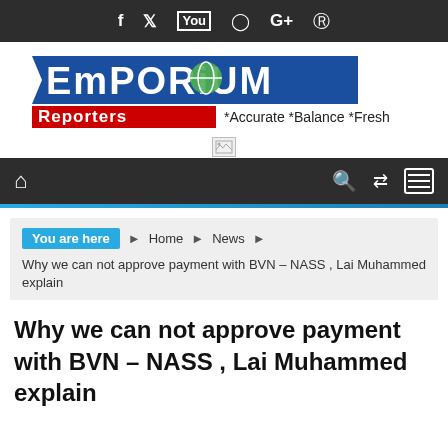f  y  You  (instagram)  G+  (pinterest)
[Figure (logo): Emporium Reporters logo with tagline *Accurate *Balance *Fresh]
[Figure (other): Broken/missing image placeholder]
Navigation bar with home icon, search, shuffle, and menu icons
You are here  Home  News  Why we can not approve payment with BVN – NASS , Lai Muhammed explain
Why we can not approve payment with BVN – NASS , Lai Muhammed explain